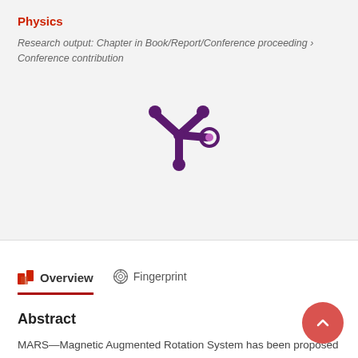Physics
Research output: Chapter in Book/Report/Conference proceeding › Conference contribution
[Figure (logo): Mendeley/research platform snowflake-like logo in dark purple with a small circular accent in pink/purple]
Overview
Fingerprint
Abstract
MARS—Magnetic Augmented Rotation System has been proposed as a potential alternative in the field of renewable and sustainable power generation systems. MARS is a device that